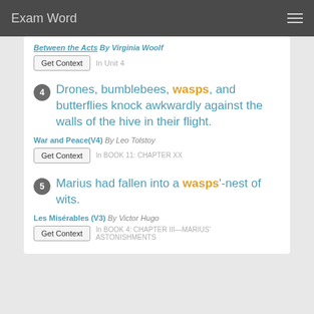Exam Word
Between the Acts By Virginia Woolf
Get Context   In Unit 4
4  Drones, bumblebees, wasps, and butterflies knock awkwardly against the walls of the hive in their flight.
War and Peace(V4) By Leo Tolstoy
Get Context   In BOOK 11: CHAPTER XX
5  Marius had fallen into a wasps'-nest of wits.
Les Misérables (V3) By Victor Hugo
Get Context   In BOOK 4: CHAPTER III—MARIUS' ASTONISHMENTS